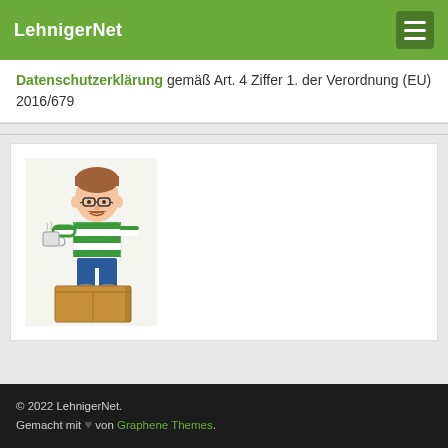LehnigerNet
Datenschutzerklärung gemäß Art. 4 Ziffer 1. der Verordnung (EU) 2016/679
[Figure (illustration): Cartoon illustration of a man with glasses wearing a green and white striped sweater, sitting on a cardboard box and holding a cup of hot coffee]
© 2022 LehnigerNet. Gemacht mit ♥ von Graphene Themes.